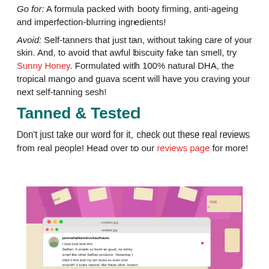Go for: A formula packed with booty firming, anti-ageing and imperfection-blurring ingredients!
Avoid: Self-tanners that just tan, without taking care of your skin. And, to avoid that awful biscuity fake tan smell, try Sunny Honey. Formulated with 100% natural DHA, the tropical mango and guava scent will have you craving your next self-tanning sesh!
Tanned & Tested
Don't just take our word for it, check out these real reviews from real people! Head over to our reviews page for more!
[Figure (photo): Photo of pink/magenta Bondi Sands Sunny Honey self-tanning product tubes, with a screenshot overlay of an Instagram review by janinahatkeinbockaufnazis praising the product's scent and tan quality.]